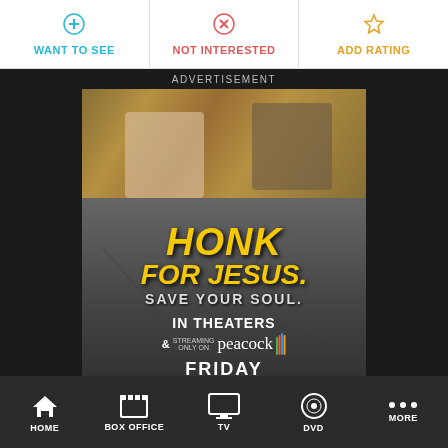WANT TO SEE
NOT INTERESTED
ADD RATING
ADVERTISEMENT
[Figure (photo): Movie advertisement for 'Honk for Jesus. Save Your Soul.' showing two people seated in ornate gold chairs cropped at top, large yellow bold italic text reading HONK FOR JESUS, white text SAVE YOUR SOUL, IN THEATERS & STREAMING ONLY ON peacock, FRIDAY, and a yellow GET TICKETS button, all on a dark asphalt background.]
HOME
BOX OFFICE
TV
DVD
MORE